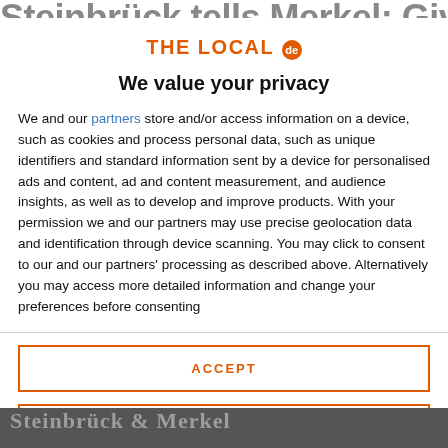Steinbrück tells Merkel: Give
[Figure (logo): The Local .de logo — orange text with circular badge]
We value your privacy
We and our partners store and/or access information on a device, such as cookies and process personal data, such as unique identifiers and standard information sent by a device for personalised ads and content, ad and content measurement, and audience insights, as well as to develop and improve products. With your permission we and our partners may use precise geolocation data and identification through device scanning. You may click to consent to our and our partners' processing as described above. Alternatively you may access more detailed information and change your preferences before consenting
ACCEPT
MORE OPTIONS
[Figure (photo): Partially visible news article photograph at the bottom of the page]